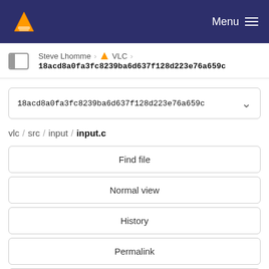VLC — Menu
Steve Lhomme › 🔶 VLC › 18acd8a0fa3fc8239ba6d637f128d223e76a659c
18acd8a0fa3fc8239ba6d637f128d223e76a659c
vlc / src / input / input.c
Find file
Normal view
History
Permalink
input.c  94.8 KB